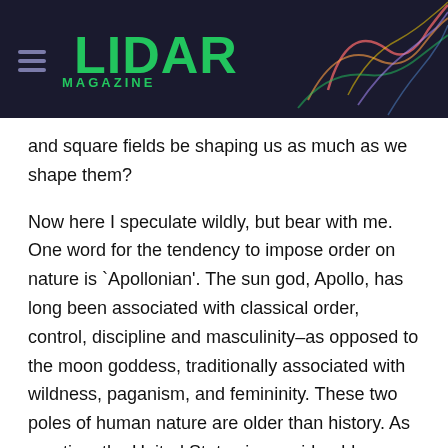LIDAR MAGAZINE
and square fields be shaping us as much as we shape them?
Now here I speculate wildly, but bear with me. One word for the tendency to impose order on nature is `Apollonian'. The sun god, Apollo, has long been associated with classical order, control, discipline and masculinity–as opposed to the moon goddess, traditionally associated with wildness, paganism, and femininity. These two poles of human nature are older than history. As a nation, the United States is considerably more `solar' than `lunar'.
But since the 6x6 square is a solar device, a